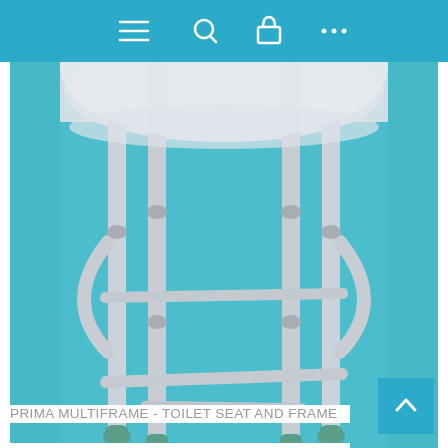Navigation bar with menu, search, cart, and more icons
[Figure (photo): Close-up photo of Prima Multiframe toilet seat and frame showing aluminium legs with green rubber feet tips and cross-bar supports on a teal background]
PRIMA MULTIFRAME - TOILET SEAT AND FRAME
Prima Multiframe complete with Toilet seat.